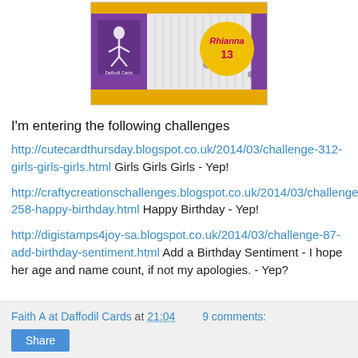[Figure (photo): Birthday card for Rhianna age 13, purple card with white vertical stripes, polka dots, yellow circle with name and age, dancer stamp image]
I'm entering the following challenges
http://cutecardthursday.blogspot.co.uk/2014/03/challenge-312-girls-girls-girls.html  Girls Girls Girls - Yep!
http://craftycreationschallenges.blogspot.co.uk/2014/03/challenge-258-happy-birthday.html  Happy Birthday - Yep!
http://digistamps4joy-sa.blogspot.co.uk/2014/03/challenge-87-add-birthday-sentiment.html  Add a Birthday Sentiment - I hope her age and name count, if not my apologies.  - Yep?
Faith A at Daffodil Cards at 21:04   9 comments: